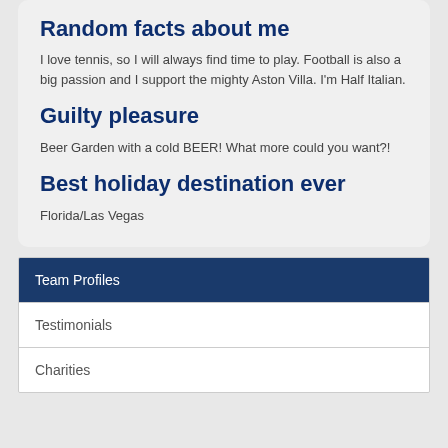Random facts about me
I love tennis, so I will always find time to play. Football is also a big passion and I support the mighty Aston Villa. I'm Half Italian.
Guilty pleasure
Beer Garden with a cold BEER! What more could you want?!
Best holiday destination ever
Florida/Las Vegas
Team Profiles
Testimonials
Charities